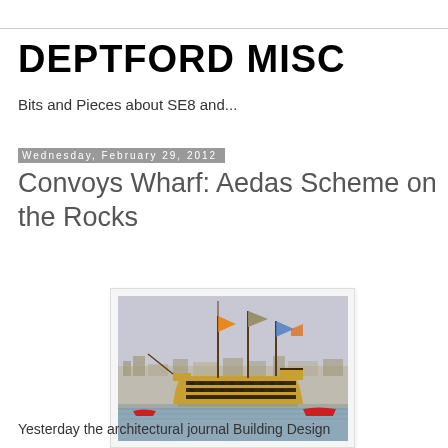DEPTFORD MISC
Bits and Pieces about SE8 and...
Wednesday, February 29, 2012
Convoys Wharf: Aedas Scheme on the Rocks
[Figure (illustration): Historical painting of a large multi-deck sailing warship with colorful flags, anchored in a harbor with smaller boats nearby and a town in the background.]
Yesterday the architectural journal Building Design